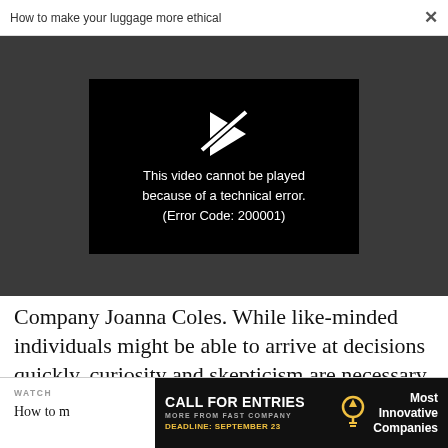How to make your luggage more ethical  ×
[Figure (screenshot): Video player showing error: a crossed-out play button icon with text 'This video cannot be played because of a technical error. (Error Code: 200001)' on a black background, within a dark gray video area.]
Company Joanna Coles. While like-minded individuals might be able to arrive at decisions quickly, curiosity and skepticism are necessary to tease out greatness and push boundaries.
WATCH MORE FROM FAST COMPANY  How to m…  CALL FOR ENTRIES  DEADLINE: SEPTEMBER 23  Most Innovative Companies